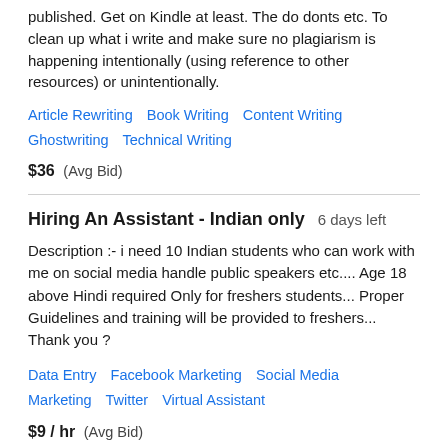published. Get on Kindle at least. The do donts etc. To clean up what i write and make sure no plagiarism is happening intentionally (using reference to other resources) or unintentionally.
Article Rewriting   Book Writing   Content Writing   Ghostwriting   Technical Writing
$36  (Avg Bid)
Hiring An Assistant - Indian only   6 days left
Description :- i need 10 Indian students who can work with me on social media handle public speakers etc.... Age 18 above Hindi required Only for freshers students... Proper Guidelines and training will be provided to freshers... Thank you ?
Data Entry   Facebook Marketing   Social Media Marketing   Twitter   Virtual Assistant
$9 / hr  (Avg Bid)